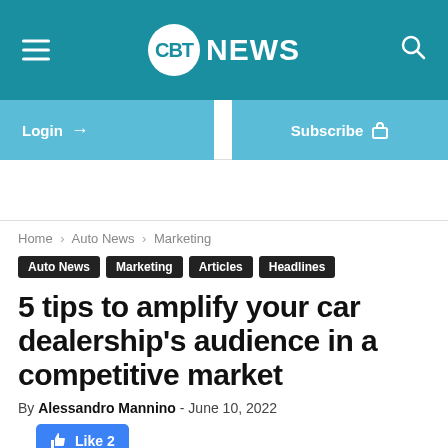CBT NEWS
Login → Subscribe 🔒
Home › Auto News › Marketing
Auto News  Marketing  Articles  Headlines
5 tips to amplify your car dealership's audience in a competitive market
By Alessandro Mannino - June 10, 2022
Like 2